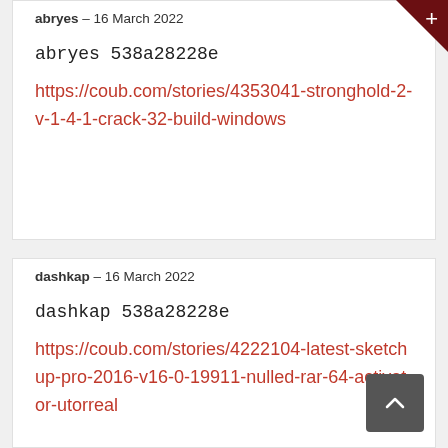abryes – 16 March 2022
abryes 538a28228e
https://coub.com/stories/4353041-stronghold-2-v-1-4-1-crack-32-build-windows
dashkap – 16 March 2022
dashkap 538a28228e
https://coub.com/stories/4222104-latest-sketchup-pro-2016-v16-0-19911-nulled-rar-64-activator-utorreal